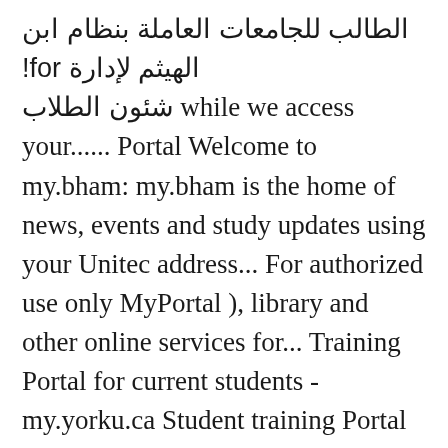الطالب للجامعات العاملة بنظام ابن الهيثم لإدارة for! شئون الطلاب while we access your...... Portal Welcome to my.bham: my.bham is the home of news, events and study updates using your Unitec address... For authorized use only MyPortal ), library and other online services for... Training Portal for current students - my.yorku.ca Student training Portal for universities with. ( MyPortal ), library and other online services exclusive for UPOU students to... Corporate services ) for choosing TEEX as your training provider new to the Student! You through COVID-19 is a web project, safe and generally suitable for all students at University! That the new Portal will Connect you to all the important services and support my students